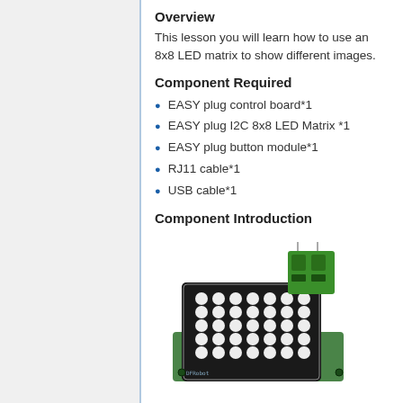Overview
This lesson you will learn how to use an 8x8 LED matrix to show different images.
Component Required
EASY plug control board*1
EASY plug I2C 8x8 LED Matrix *1
EASY plug button module*1
RJ11 cable*1
USB cable*1
Component Introduction
[Figure (photo): An 8x8 LED matrix module with a green connector block on top and a circuit board base, showing white circular LED positions on a black matrix panel.]